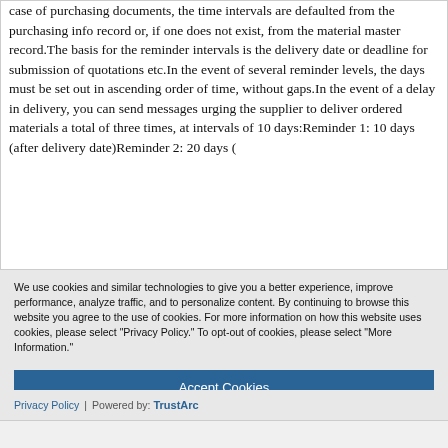case of purchasing documents, the time intervals are defaulted from the purchasing info record or, if one does not exist, from the material master record.The basis for the reminder intervals is the delivery date or deadline for submission of quotations etc.In the event of several reminder levels, the days must be set out in ascending order of time, without gaps.In the event of a delay in delivery, you can send messages urging the supplier to deliver ordered materials a total of three times, at intervals of 10 days:Reminder 1: 10 days (after delivery date)Reminder 2: 20 days (
We use cookies and similar technologies to give you a better experience, improve performance, analyze traffic, and to personalize content. By continuing to browse this website you agree to the use of cookies. For more information on how this website uses cookies, please select "Privacy Policy." To opt-out of cookies, please select "More Information."
Accept Cookies
More Information
Privacy Policy | Powered by: TrustArc